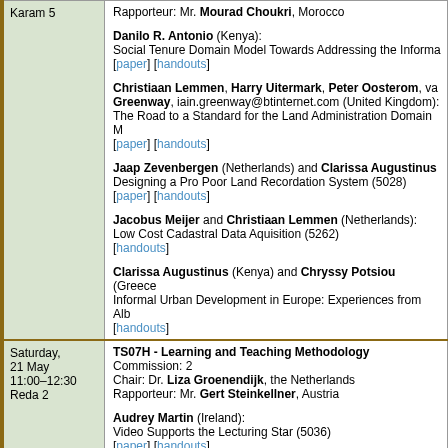| Location/Time | Session Content |
| --- | --- |
| Karam 5 | Rapporteur: Mr. Mourad Choukri, Morocco

Danilo R. Antonio (Kenya):
Social Tenure Domain Model Towards Addressing the Informa...
[paper] [handouts]

Christiaan Lemmen, Harry Uitermark, Peter Oosterom, va...
Greenway, iain.greenway@btinternet.com (United Kingdom):
The Road to a Standard for the Land Administration Domain M...
[paper] [handouts]

Jaap Zevenbergen (Netherlands) and Clarissa Augustinus...
Designing a Pro Poor Land Recordation System (5028)
[paper] [handouts]

Jacobus Meijer and Christiaan Lemmen (Netherlands):
Low Cost Cadastral Data Aquisition (5262)
[handouts]

Clarissa Augustinus (Kenya) and Chryssy Potsiou (Greece...
Informal Urban Development in Europe: Experiences from Alb...
[handouts] |
| Saturday, 21 May
11:00–12:30
Reda 2 | TS07H - Learning and Teaching Methodology
Commission: 2
Chair: Dr. Liza Groenendijk, the Netherlands
Rapporteur: Mr. Gert Steinkellner, Austria

Audrey Martin (Ireland):
Video Supports the Lecturing Star (5036)
[paper] [handouts]

Zoran Blagojevic and Dragana Lazic (Serbia): |